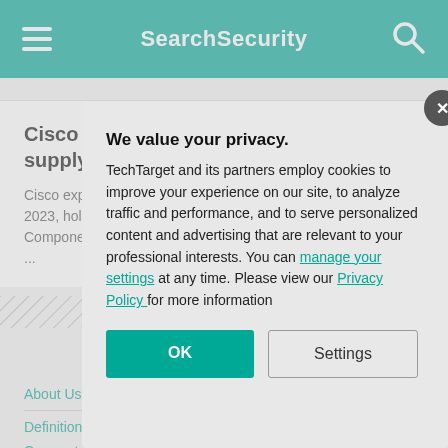SearchSecurity
Cisco earnings improve with easing supply shortage
Cisco expects component shortages to continue through fiscal 2023, holding revenue growth to between 4% and 6%. Component prices ...
About Us   Editorial Ethic...   Videos   Photo Stories ...
Definitions   Guides   Ac...   Corporate Site
Contributors   CPE and C...
We value your privacy.
TechTarget and its partners employ cookies to improve your experience on our site, to analyze traffic and performance, and to serve personalized content and advertising that are relevant to your professional interests. You can manage your settings at any time. Please view our Privacy Policy for more information